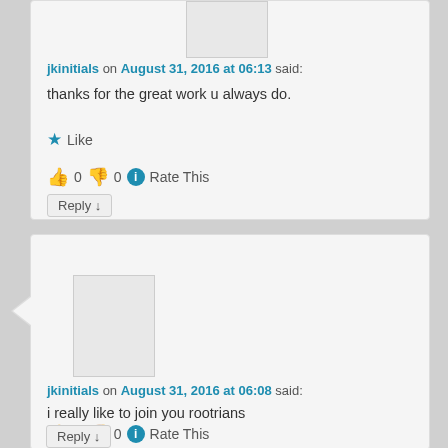jkinitials on August 31, 2016 at 06:13 said:
thanks for the great work u always do.
Like
👍 0 👎 0 ℹ Rate This
Reply ↓
jkinitials on August 31, 2016 at 06:08 said:
i really like to join you rootrians
Like
👍 0 👎 0 ℹ Rate This
Reply ↓